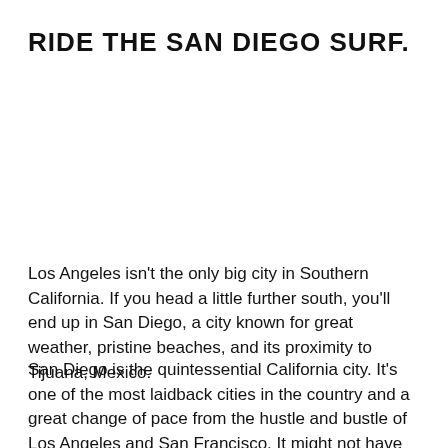RIDE THE SAN DIEGO SURF.
Los Angeles isn't the only big city in Southern California. If you head a little further south, you'll end up in San Diego, a city known for great weather, pristine beaches, and its proximity to Tijuana, Mexico.
San Diego is the quintessential California city. It's one of the most laidback cities in the country and a great change of pace from the hustle and bustle of Los Angeles and San Francisco. It might not have the buzzing nightlife the